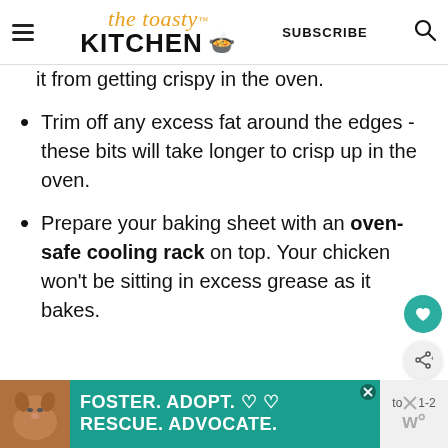[Figure (logo): The Toasty Kitchen logo with hamburger menu, script and bold text, subscribe button, and search icon]
it from getting crispy in the oven.
Trim off any excess fat around the edges - these bits will take longer to crisp up in the oven.
Prepare your baking sheet with an oven-safe cooling rack on top. Your chicken won't be sitting in excess grease as it bakes.
[Figure (screenshot): Ad banner: Foster. Adopt. Rescue. Advocate. with dog photo on teal background]